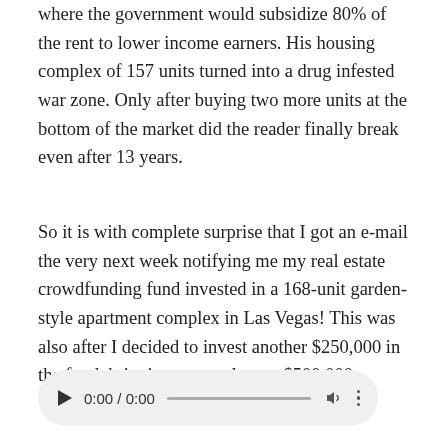where the government would subsidize 80% of the rent to lower income earners. His housing complex of 157 units turned into a drug infested war zone. Only after buying two more units at the bottom of the market did the reader finally break even after 13 years.
So it is with complete surprise that I got an e-mail the very next week notifying me my real estate crowdfunding fund invested in a 168-unit garden-style apartment complex in Las Vegas! This was also after I decided to invest another $250,000 in the fund, bringing my total up to $500,000.
[Figure (other): Audio player UI element showing play button, time display '0:00 / 0:00', progress bar, volume icon, and more options (three dots) on a light gray rounded rectangle background.]